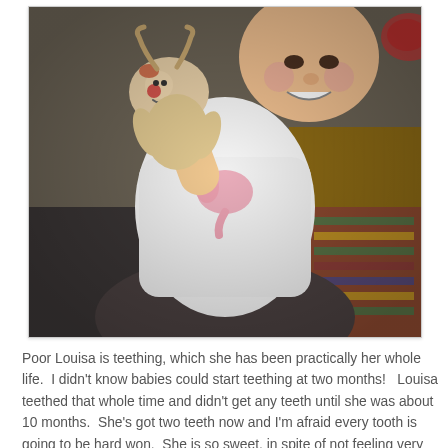[Figure (photo): A baby in a white sweater holding a stuffed reindeer toy, smiling. The baby appears to be sitting with people around. A colorful rug is visible in the background on the right side.]
Poor Louisa is teething, which she has been practically her whole life.  I didn't know babies could start teething at two months!   Louisa teethed that whole time and didn't get any teeth until she was about 10 months.  She's got two teeth now and I'm afraid every tooth is going to be hard won.  She is so sweet, in spite of not feeling very good!  You can see her two teeth, plus on the floor, the mess we've started with her ice cream cart!  That little reindeer's cheeks light up and it sings.  Louisa is singing "All I Want for Christmas Is my